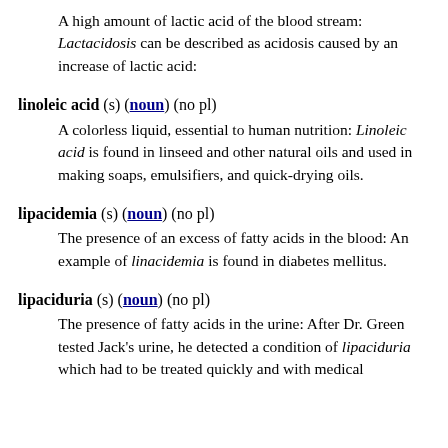A high amount of lactic acid of the blood stream: Lactacidosis can be described as acidosis caused by an increase of lactic acid:
linoleic acid (s) (noun) (no pl)
A colorless liquid, essential to human nutrition: Linoleic acid is found in linseed and other natural oils and used in making soaps, emulsifiers, and quick-drying oils.
lipacidemia (s) (noun) (no pl)
The presence of an excess of fatty acids in the blood: An example of linacidemia is found in diabetes mellitus.
lipaciduria (s) (noun) (no pl)
The presence of fatty acids in the urine: After Dr. Green tested Jack's urine, he detected a condition of lipaciduria which had to be treated quickly and with medical